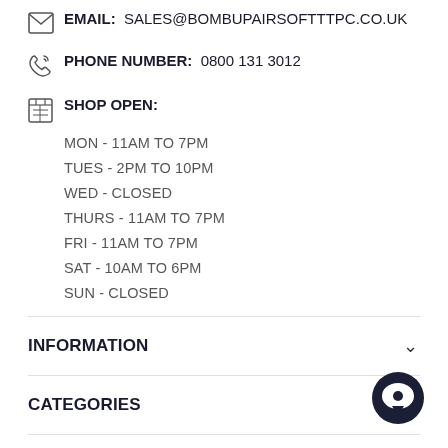EMAIL: SALES@BOMBUPAIRSOFTTTPC.CO.UK
PHONE NUMBER: 0800 131 3012
SHOP OPEN:
MON - 11AM TO 7PM
TUES - 2PM TO 10PM
WED - CLOSED
THURS - 11AM TO 7PM
FRI - 11AM TO 7PM
SAT - 10AM TO 6PM
SUN - CLOSED
INFORMATION
CATEGORIES
TOP PICKS
[Figure (illustration): Dark circular chat bubble icon in bottom right corner]